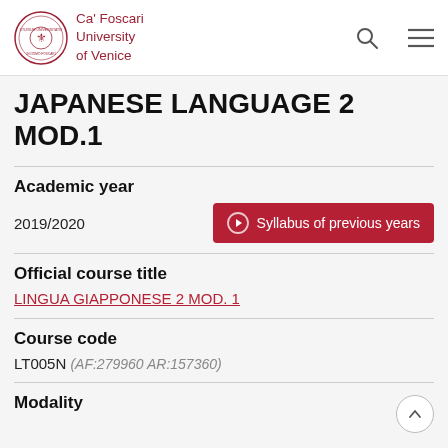Ca' Foscari University of Venice
JAPANESE LANGUAGE 2 MOD.1
Academic year
2019/2020
Syllabus of previous years
Official course title
LINGUA GIAPPONESE 2 MOD. 1
Course code
LT005N (AF:279960 AR:157360)
Modality